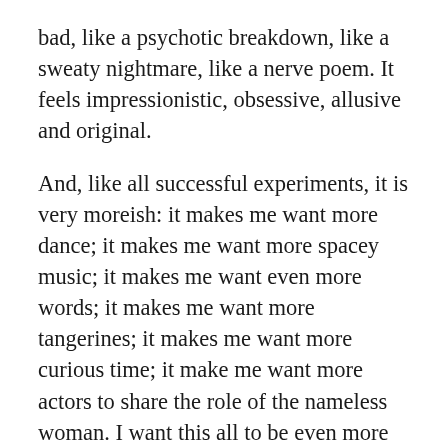bad, like a psychotic breakdown, like a sweaty nightmare, like a nerve poem. It feels impressionistic, obsessive, allusive and original.
And, like all successful experiments, it is very moreish: it makes me want more dance; it makes me want more spacey music; it makes me want even more words; it makes me want more tangerines; it makes me want more curious time; it make me want more actors to share the role of the nameless woman. I want this all to be even more unbearable — because death and pain are too.
I saw Nuclear War at a preview, so I'm aware that it's a work in progress, but it is already absorbing enough to make me want to see more stagings like this. Slightly reminiscent of the playwrights…